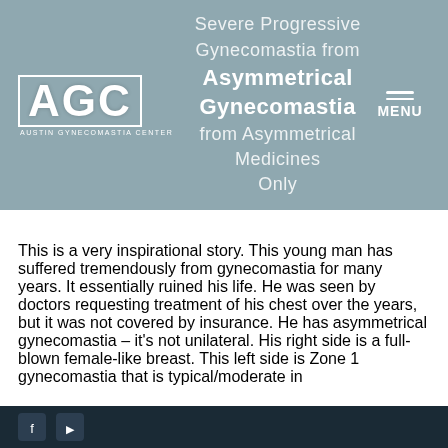Severe Progressive Gynecomastia from Asymmetrical Gynecomastia from Asymmetrical Medicines Only
[Figure (logo): AGC - Austin Gynecomastia Center logo in white on blue-grey header background]
This is a very inspirational story. This young man has suffered tremendously from gynecomastia for many years. It essentially ruined his life. He was seen by doctors requesting treatment of his chest over the years, but it was not covered by insurance. He has asymmetrical gynecomastia – it's not unilateral. His right side is a full-blown female-like breast. This left side is Zone 1 gynecomastia that is typical/moderate in